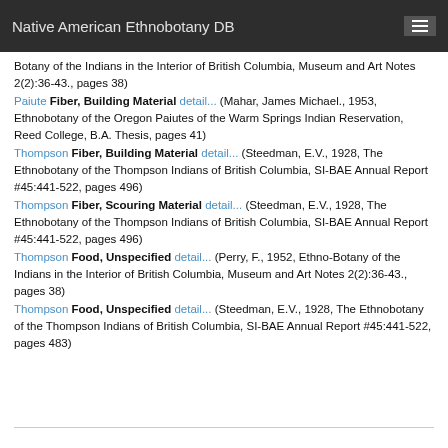Native American Ethnobotany DB
Botany of the Indians in the Interior of British Columbia, Museum and Art Notes 2(2):36-43., pages 38)
Paiute Fiber, Building Material detail... (Mahar, James Michael., 1953, Ethnobotany of the Oregon Paiutes of the Warm Springs Indian Reservation, Reed College, B.A. Thesis, pages 41)
Thompson Fiber, Building Material detail... (Steedman, E.V., 1928, The Ethnobotany of the Thompson Indians of British Columbia, SI-BAE Annual Report #45:441-522, pages 496)
Thompson Fiber, Scouring Material detail... (Steedman, E.V., 1928, The Ethnobotany of the Thompson Indians of British Columbia, SI-BAE Annual Report #45:441-522, pages 496)
Thompson Food, Unspecified detail... (Perry, F., 1952, Ethno-Botany of the Indians in the Interior of British Columbia, Museum and Art Notes 2(2):36-43., pages 38)
Thompson Food, Unspecified detail... (Steedman, E.V., 1928, The Ethnobotany of the Thompson Indians of British Columbia, SI-BAE Annual Report #45:441-522, pages 483)